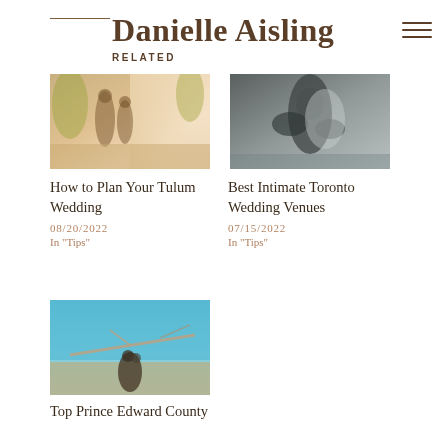Danielle Aisling
RELATED
[Figure (photo): Couple outdoors in warm light, bokeh background, warm tones]
How to Plan Your Tulum Wedding
08/20/2022
In "Tips"
[Figure (photo): Close-up of couple embracing, dark and light tones]
Best Intimate Toronto Wedding Venues
07/15/2022
In "Tips"
[Figure (photo): Couple near water with beach/ocean background, teal sky]
Top Prince Edward County